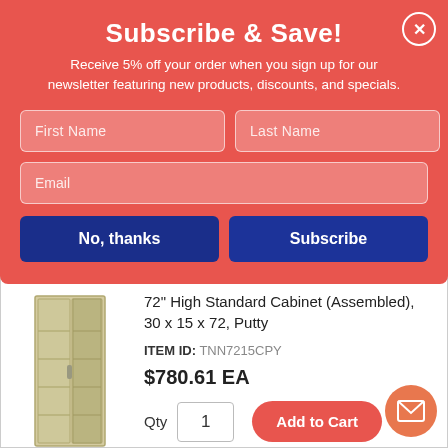Subscribe & Save!
Receive 5% off your order when you sign up for our newsletter featuring new products, discounts, and specials.
First Name | Last Name | Email (form fields)
No, thanks | Subscribe (buttons)
72" High Standard Cabinet (Assembled), 30 x 15 x 72, Putty
ITEM ID: TNN7215CPY
$780.61 EA
Qty 1
Add to Cart
In Stock